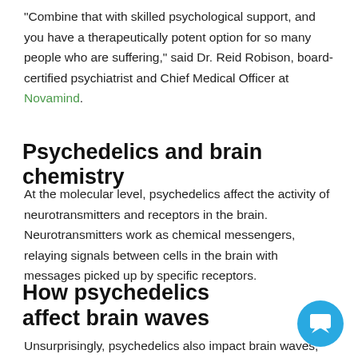“Combine that with skilled psychological support, and you have a therapeutically potent option for so many people who are suffering,” said Dr. Reid Robison, board-certified psychiatrist and Chief Medical Officer at Novamind.
Psychedelics and brain chemistry
At the molecular level, psychedelics affect the activity of neurotransmitters and receptors in the brain. Neurotransmitters work as chemical messengers, relaying signals between cells in the brain with messages picked up by specific receptors.
How psychedelics affect brain waves
Unsurprisingly, psychedelics also impact brain waves, which